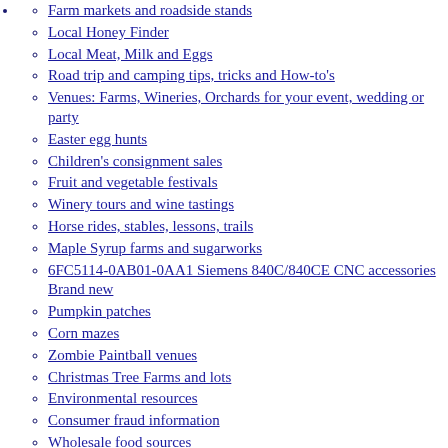Farm markets and roadside stands
Local Honey Finder
Local Meat, Milk and Eggs
Road trip and camping tips, tricks and How-to's
Venues: Farms, Wineries, Orchards for your event, wedding or party
Easter egg hunts
Children's consignment sales
Fruit and vegetable festivals
Winery tours and wine tastings
Horse rides, stables, lessons, trails
Maple Syrup farms and sugarworks
6FC5114-0AB01-0AA1 Siemens 840C/840CE CNC accessories Brand new
Pumpkin patches
Corn mazes
Zombie Paintball venues
Christmas Tree Farms and lots
Environmental resources
Consumer fraud information
Wholesale food sources
ROMPA Sensory Fibre Optics150 strands x 3m long + Light Source b
Picking guides